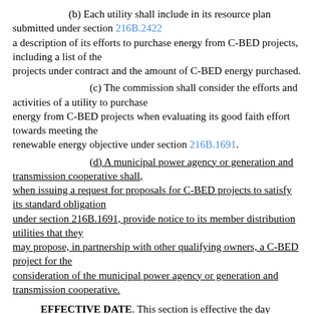(b) Each utility shall include in its resource plan submitted under section 216B.2422 a description of its efforts to purchase energy from C-BED projects, including a list of the projects under contract and the amount of C-BED energy purchased.
(c) The commission shall consider the efforts and activities of a utility to purchase energy from C-BED projects when evaluating its good faith effort towards meeting the renewable energy objective under section 216B.1691.
(d) A municipal power agency or generation and transmission cooperative shall, when issuing a request for proposals for C-BED projects to satisfy its standard obligation under section 216B.1691, provide notice to its member distribution utilities that they may propose, in partnership with other qualifying owners, a C-BED project for the consideration of the municipal power agency or generation and transmission cooperative.
EFFECTIVE DATE. This section is effective the day